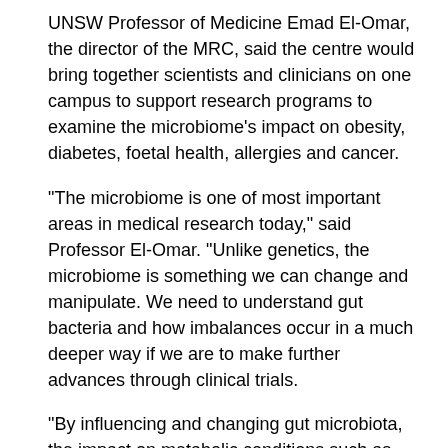UNSW Professor of Medicine Emad El-Omar, the director of the MRC, said the centre would bring together scientists and clinicians on one campus to support research programs to examine the microbiome's impact on obesity, diabetes, foetal health, allergies and cancer.
“The microbiome is one of most important areas in medical research today,” said Professor El-Omar. “Unlike genetics, the microbiome is something we can change and manipulate. We need to understand gut bacteria and how imbalances occur in a much deeper way if we are to make further advances through clinical trials.
“By influencing and changing gut microbiota, the impact on metabolic conditions such as diabetes, allergy and obesity could be significant,” said Professor El-Omar. “We are also examining the role of the microbiome in cancer and its responsiveness to treatments and how a disrupted microbiome can have a significant impact on pregnancy and foetal outcomes.
“There will be unrivalled opportunities for the next generation of researchers in medicine and allied health specialities on offer at the centre. Their interdisciplinary research lab experience, lab…